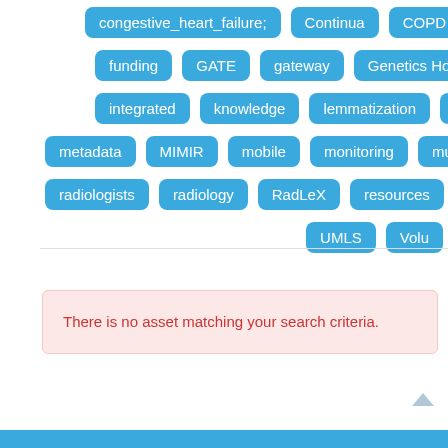congestive_heart_failure; Continua COPD diabetes funding GATE gateway Genetics Home Reference integrated knowledge lemmatization LinkedCT metadata MIMIR mobile monitoring multi-parametric radiologists radiology RadLeX resources search sem UMLS Volu
There is no asset matching your search criteria.